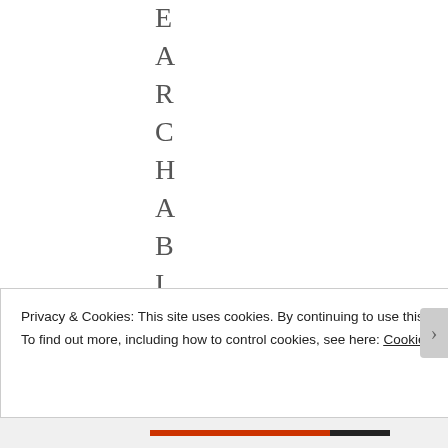E A R C H A B I L I T
Privacy & Cookies: This site uses cookies. By continuing to use this website, you agree to their use.
To find out more, including how to control cookies, see here: Cookie Policy
Close and accept